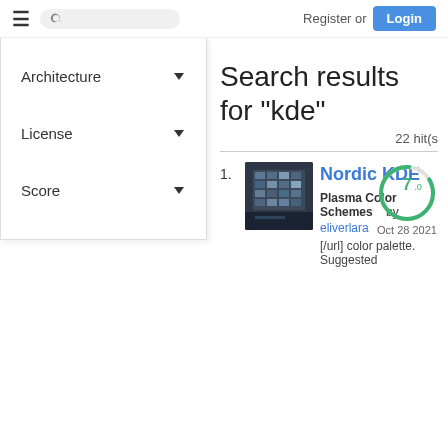Register or Login
Architecture ▾
License ▾
Score ▾
Search results for "kde"
22 hit(s
1. Nordic KDE — Plasma Color Schemes by eliverlara — [/url] color palette. Suggested — Score: 7.0 — Oct 28 2021